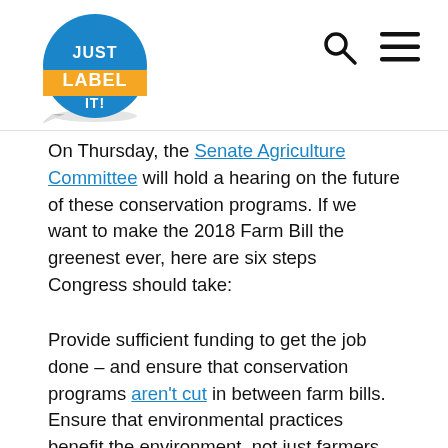Just Label It logo with search and menu icons
On Thursday, the Senate Agriculture Committee will hold a hearing on the future of these conservation programs. If we want to make the 2018 Farm Bill the greenest ever, here are six steps Congress should take:
Provide sufficient funding to get the job done – and ensure that conservation programs aren't cut in between farm bills.
Ensure that environmental practices benefit the environment, not just farmers. As EWG's groundbreaking analysis revealed, funds are frequently used for on-farm infrastructure improvement projects and practices that may primarily benefit farmers, not American taxpayers.
Make sure that practices produce long-term environmental benefits. In particular, legislators should